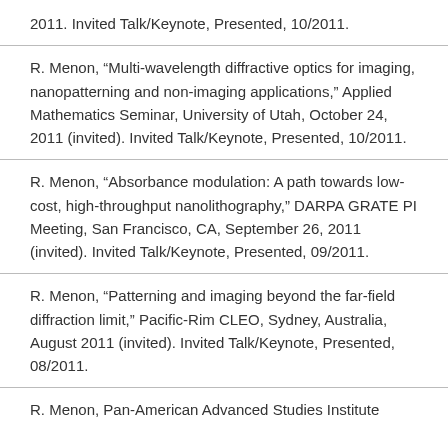2011. Invited Talk/Keynote, Presented, 10/2011.
R. Menon, “Multi-wavelength diffractive optics for imaging, nanopatterning and non-imaging applications,” Applied Mathematics Seminar, University of Utah, October 24, 2011 (invited). Invited Talk/Keynote, Presented, 10/2011.
R. Menon, “Absorbance modulation: A path towards low-cost, high-throughput nanolithography,” DARPA GRATE PI Meeting, San Francisco, CA, September 26, 2011 (invited). Invited Talk/Keynote, Presented, 09/2011.
R. Menon, “Patterning and imaging beyond the far-field diffraction limit,” Pacific-Rim CLEO, Sydney, Australia, August 2011 (invited). Invited Talk/Keynote, Presented, 08/2011.
R. Menon, Pan-American Advanced Studies Institute